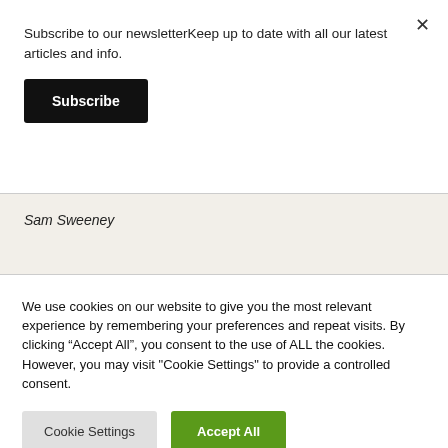Subscribe to our newsletterKeep up to date with all our latest articles and info.
Subscribe
Sam Sweeney
We use cookies on our website to give you the most relevant experience by remembering your preferences and repeat visits. By clicking “Accept All”, you consent to the use of ALL the cookies. However, you may visit "Cookie Settings" to provide a controlled consent.
Cookie Settings
Accept All